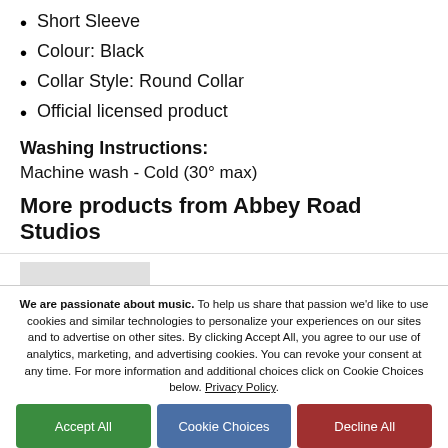Short Sleeve
Colour: Black
Collar Style: Round Collar
Official licensed product
Washing Instructions:
Machine wash - Cold (30° max)
More products from Abbey Road Studios
[Figure (photo): Product image of Abbey Road Beanie Black, showing a black beanie hat against a light grey background]
Abbey Road Studios
Abbey Road Beanie Black
We are passionate about music. To help us share that passion we'd like to use cookies and similar technologies to personalize your experiences on our sites and to advertise on other sites. By clicking Accept All, you agree to our use of analytics, marketing, and advertising cookies. You can revoke your consent at any time. For more information and additional choices click on Cookie Choices below. Privacy Policy.